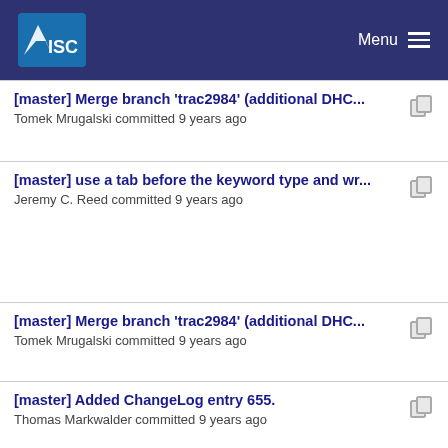ISC — Menu
[master] Merge branch 'trac2984' (additional DHC... — Tomek Mrugalski committed 9 years ago
[master] use a tab before the keyword type and wr... — Jeremy C. Reed committed 9 years ago
[master] Merge branch 'trac2984' (additional DHC... — Tomek Mrugalski committed 9 years ago
[master] Added ChangeLog entry 655. — Thomas Markwalder committed 9 years ago
[master] ChangeLog entry for #3050 — Stephen Morris committed 9 years ago